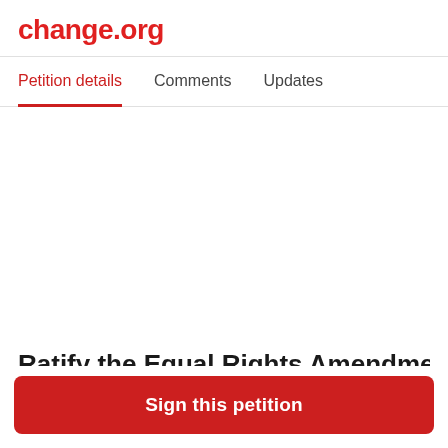change.org
Petition details	Comments	Updates
Ratify the Equal Rights Amendment
Sign this petition